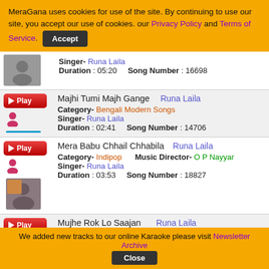MeraGana uses cookies for use of the site. By continuing to use our site, you accept our use of cookies. our Privacy Policy and Terms of Service. [Accept button]
Singer- Runa Laila
Duration : 05:20    Song Number : 16698
Majhi Tumi Majh Gange  Runa Laila
Category- Bengali Modern Songs
Singer- Runa Laila
Duration : 02:41    Song Number : 14706
Mera Babu Chhail Chhabila  Runa Laila
Category- Indipop    Music Director- O P Nayyar
Singer- Runa Laila
Duration : 03:53    Song Number : 18827
Mujhe Rok Lo Saajan  Runa Laila
Category- Ghazal    Singer- Runa Laila
Duration : 04:21    Song Number : 16722
We added new tracks to our online Karaoke please visit Newsletter Archive  [Close button]